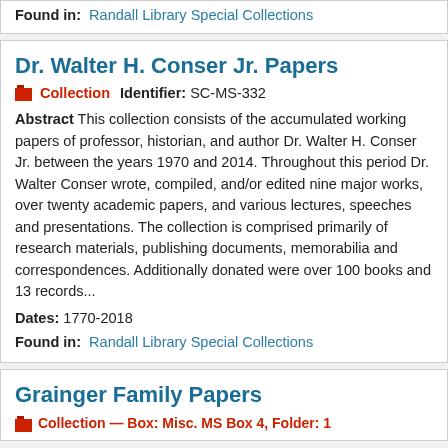Found in:  Randall Library Special Collections
Dr. Walter H. Conser Jr. Papers
Collection   Identifier: SC-MS-332
Abstract This collection consists of the accumulated working papers of professor, historian, and author Dr. Walter H. Conser Jr. between the years 1970 and 2014. Throughout this period Dr. Walter Conser wrote, compiled, and/or edited nine major works, over twenty academic papers, and various lectures, speeches and presentations. The collection is comprised primarily of research materials, publishing documents, memorabilia and correspondences. Additionally donated were over 100 books and 13 records...
Dates: 1770-2018
Found in:  Randall Library Special Collections
Grainger Family Papers
Collection — Box: Misc. MS Box 4, Folder: 1